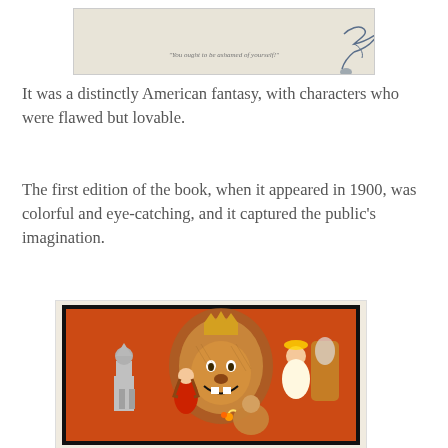[Figure (illustration): Top portion of a vintage Wizard of Oz illustration with light beige background, partial text visible]
It was a distinctly American fantasy, with characters who were flawed but lovable.
The first edition of the book, when it appeared in 1900, was colorful and eye-catching, and it captured the public's imagination.
[Figure (illustration): Vintage Wizard of Oz book cover illustration showing the Cowardly Lion with a crown, Dorothy in a red dress, Tin Man, and other characters on an orange/red background]